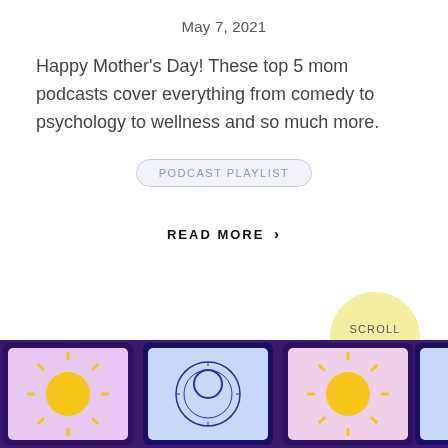May 7, 2021
Happy Mother's Day! These top 5 mom podcasts cover everything from comedy to psychology to wellness and so much more.
PODCAST PLAYLIST
READ MORE >
SCROLL UP
[Figure (photo): Colorful illustrated podcast or tarot-card style artwork on purple/pink background showing sun and zodiac wheel motifs arranged in a diamond grid pattern.]